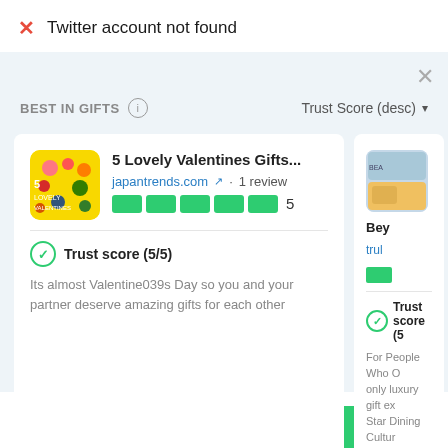✗ Twitter account not found
BEST IN GIFTS (i) Trust Score (desc) ▾
[Figure (screenshot): Card showing '5 Lovely Valentines Gifts...' from japantrends.com with 1 review, 5 green star blocks, Trust score (5/5), and description 'Its almost Valentine039s Day so you and your partner deserve amazing gifts for each other']
[Figure (screenshot): Partially visible card showing 'Bey...' from 'trul...' with green star block and Trust score (5... partially visible) and text 'For People Who O... only luxury gift ex... Star Dining Cultur...']
Write a review